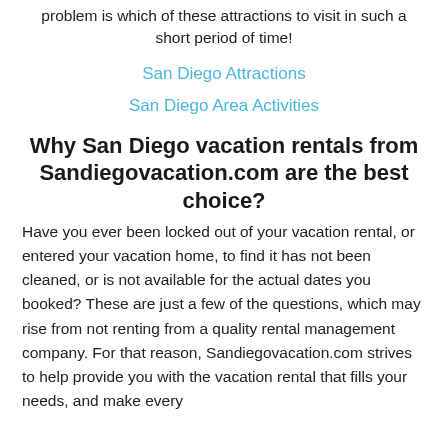problem is which of these attractions to visit in such a short period of time!
San Diego Attractions
San Diego Area Activities
Why San Diego vacation rentals from Sandiegovacation.com are the best choice?
Have you ever been locked out of your vacation rental, or entered your vacation home, to find it has not been cleaned, or is not available for the actual dates you booked? These are just a few of the questions, which may rise from not renting from a quality rental management company. For that reason, Sandiegovacation.com strives to help provide you with the vacation rental that fills your needs, and make every